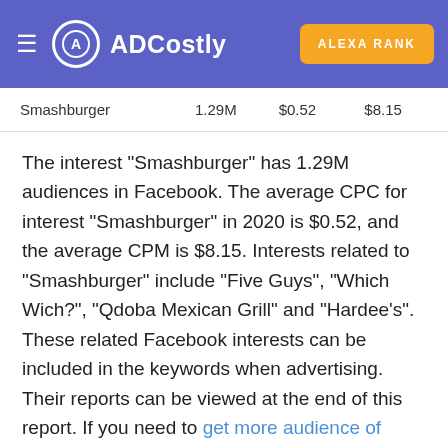ADCostly | ALEXA RANK
|  |  |  |  |
| --- | --- | --- | --- |
| Smashburger | 1.29M | $0.52 | $8.15 |
The interest "Smashburger" has 1.29M audiences in Facebook. The average CPC for interest "Smashburger" in 2020 is $0.52, and the average CPM is $8.15. Interests related to "Smashburger" include "Five Guys", "Which Wich?", "Qdoba Mexican Grill" and "Hardee's". These related Facebook interests can be included in the keywords when advertising. Their reports can be viewed at the end of this report. If you need to get more audience of